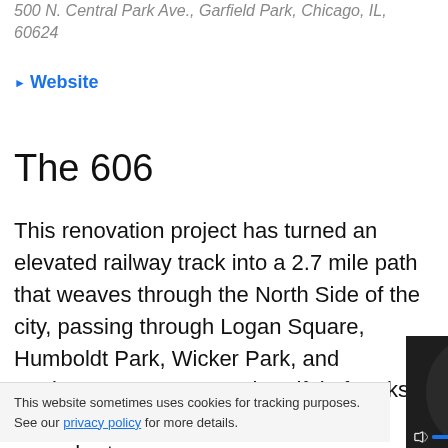500 N. Central Park Ave., Garfield Park, Chicago, IL, 60624
▶ Website
The 606
This renovation project has turned an elevated railway track into a 2.7 mile path that weaves through the North Side of the city, passing through Logan Square, Humboldt Park, Wicker Park, and Bucktown. It connects a handful of parks and is the perfect place to e… short run.
[Figure (screenshot): A video overlay showing 'THIS DAY IN HISTORY' with a play button, the number 6, 'AUGUST', mute icon, progress bar, and fullscreen button on a dark background with blurred faces.]
This website sometimes uses cookies for tracking purposes. See our privacy policy for more details.